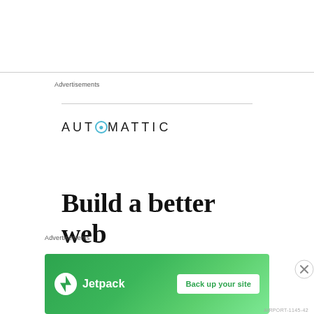Advertisements
[Figure (logo): Automattic logo with stylized circle-O in teal]
Build a better web and a better
Advertisements
[Figure (infographic): Jetpack advertisement banner with green gradient background, Jetpack logo, and 'Back up your site' button]